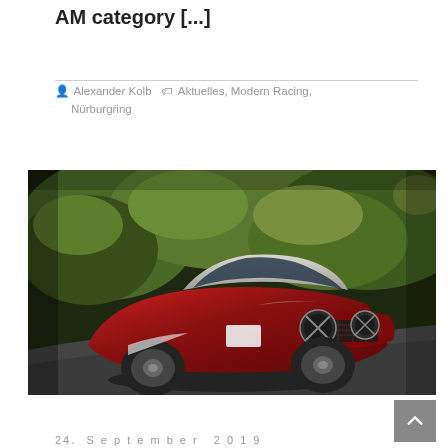AM category [...]
Alexander Kolb   Aktuelles, Modern Racing, Nürburgring
[Figure (photo): A red vintage racing car (Austin-Healey style) on a racing circuit, photographed at low angle with green trees in the background. The car is red with white accents and has taped headlights.]
24. September 2019